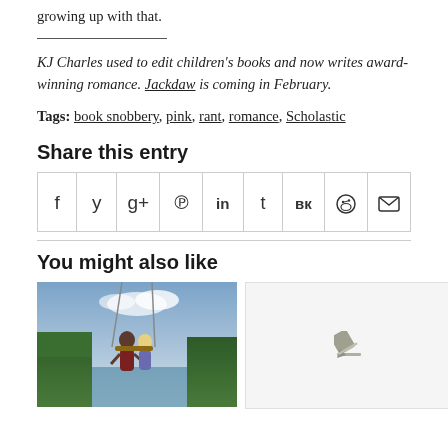growing up with that.
KJ Charles used to edit children’s books and now writes award-winning romance. Jackdaw is coming in February.
Tags: book snobbery, pink, rant, romance, Scholastic
Share this entry
[Figure (infographic): Social sharing icon bar with icons for Facebook, Twitter, Google+, Pinterest, LinkedIn, Tumblr, VK, Reddit, and Email]
You might also like
[Figure (illustration): Book cover or blog post thumbnail showing two characters near a swing over water with trees in background]
[Figure (other): Light gray box with a pencil/edit icon in the center]